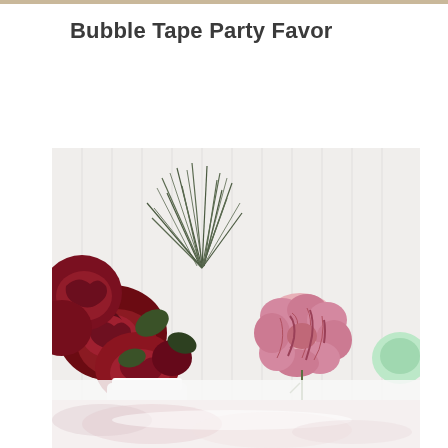Bubble Tape Party Favor
[Figure (photo): A floral arrangement featuring deep red roses and pine needle sprigs on the left side, with pink and white striped carnations in the center-right, against a white beadboard background. The flowers are displayed on a white surface.]
[Figure (photo): Bottom portion of the same or similar floral arrangement, showing light reflections and soft pink flower petals at the bottom of the page.]